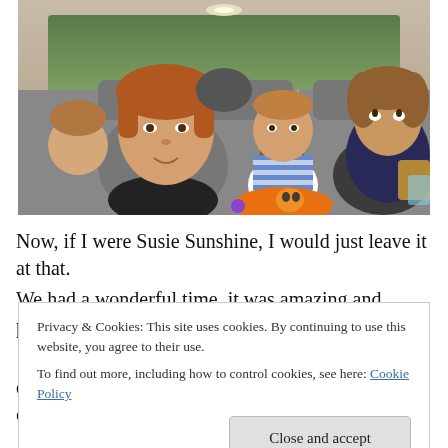[Figure (photo): Children seated in the backseat of a large SUV/van. A teenage boy with reddish-brown hair looks toward the camera in the foreground, a toddler in a car seat holds an orange toy, another older child looks up on the right, and more children are visible in the back seats.]
Now, if I were Susie Sunshine, I would just leave it at that.
We had a wonderful time. it was amazing and perfect. just
Privacy & Cookies: This site uses cookies. By continuing to use this website, you agree to their use.
To find out more, including how to control cookies, see here: Cookie Policy
drive back home wasn't a whole lot better. I was clueless